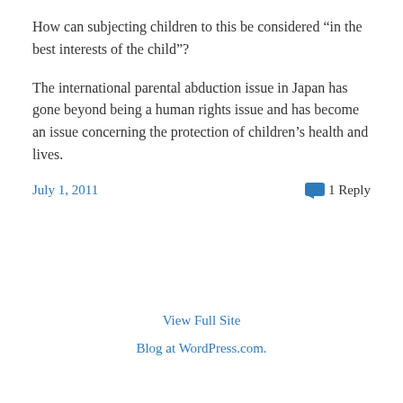How can subjecting children to this be considered “in the best interests of the child”?
The international parental abduction issue in Japan has gone beyond being a human rights issue and has become an issue concerning the protection of children’s health and lives.
July 1, 2011
1 Reply
View Full Site
Blog at WordPress.com.